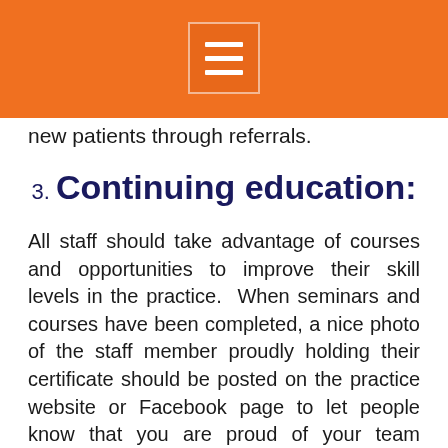new patients through referrals.
3. Continuing education:
All staff should take advantage of courses and opportunities to improve their skill levels in the practice. When seminars and courses have been completed, a nice photo of the staff member proudly holding their certificate should be posted on the practice website or Facebook page to let people know that you are proud of your team member and it will inspire confidence in potential patients or clients who are "shopping" your website that your practice will be delivering the highest